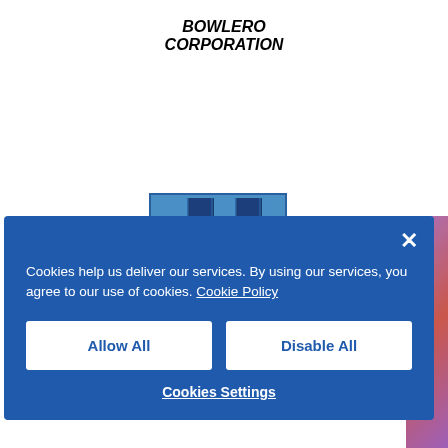BOWLERO CORPORATION
[Figure (logo): Bowlero Corporation logo showing bowling lanes with pins in blue tones]
Cookies help us deliver our services. By using our services, you agree to our use of cookies. Cookie Policy
Allow All
Disable All
Cookies Settings